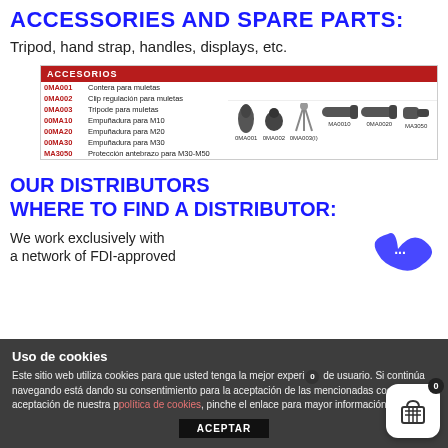ACCESSORIES AND SPARE PARTS:
Tripod, hand strap, handles, displays, etc.
[Figure (table-as-image): Product accessories table in Spanish (ACCESORIOS) listing codes and names: 0MA001 Contera para muletas, 0MA002 Clip regulación para muletas, 0MA003 Tripode para muletas, 00MA10 Empuñadura para M10, 00MA20 Empuñadura para M20, 00MA30 Empuñadura para M30, MA3050 Protección antebrazo para M30-M50, with product images]
OUR DISTRIBUTORS
WHERE TO FIND A DISTRIBUTOR:
We work exclusively with a network of FDI-approved
Uso de cookies
Este sitio web utiliza cookies para que usted tenga la mejor experiencia de usuario. Si continúa navegando está dando su consentimiento para la aceptación de las mencionadas cookies y la aceptación de nuestra política de cookies, pinche el enlace para mayor información.
ACEPTAR